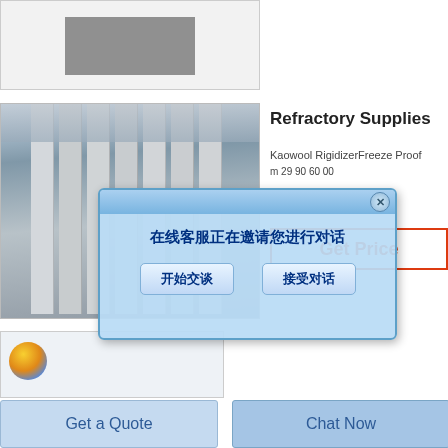[Figure (photo): Gray material slab product photo on white background (top cropped)]
[Figure (photo): Industrial warehouse with tall grey refractory block slabs stacked in rows with a chat popup overlay in Chinese]
Refractory Supplies
Kaowool RigidizerFreeze Proof
m 29 90 60 00
Get Price
[Figure (screenshot): Chinese live chat popup dialog: 在线客服正在邀请您进行对话 with buttons 开始交谈 and 接受对话]
[Figure (photo): Bottom cropped image showing a globe/ball icon on light background]
Get a Quote
Chat Now